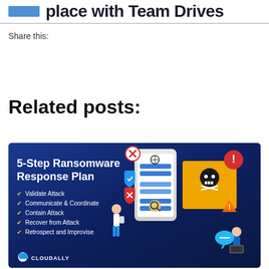place with Team Drives
Share this:
Related posts:
[Figure (infographic): 5-Step Ransomware Response Plan infographic on dark blue background. Lists: Validate Attack, Communicate & Coordinate, Contain Attack, Recover from Attack, Retrospect and Improvise. Shows phone with security icons, skull-and-crossbones warning, magnifying glass, and two illustrated people. CloudAlly logo at bottom.]